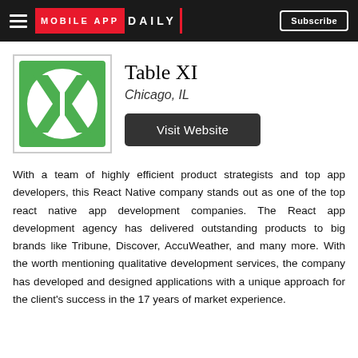MOBILE APP DAILY | Subscribe
[Figure (logo): Table XI company logo — green square with white X and I letters in a circular design]
Table XI
Chicago, IL
Visit Website
With a team of highly efficient product strategists and top app developers, this React Native company stands out as one of the top react native app development companies. The React app development agency has delivered outstanding products to big brands like Tribune, Discover, AccuWeather, and many more. With the worth mentioning qualitative development services, the company has developed and designed applications with a unique approach for the client's success in the 17 years of market experience.